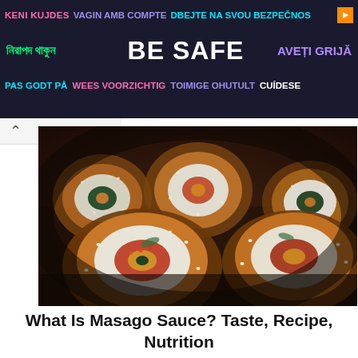[Figure (infographic): Multilingual 'Be Safe' public health advertisement banner with text in multiple languages on dark background. Row 1: 'KENI KUJDES' in pink, 'VAGIN AMB COMPTE' in purple, 'DBEJTE NA SVOU BEZPEČNOS' in cyan, with orange arrow icon. Row 2: Bengali text in green, 'BE SAFE' in large white bold, 'AVEȚI GRIJĂ' in lavender. Row 3: 'PAS GODT PÅ' in cyan, 'WEES VOORZICHTIG' in pink, 'TOIMIGE OHUTULT' in purple, 'CUÍDESE' in white.]
[Figure (photo): Close-up photograph of sushi rolls, showing several maki rolls with breaded/sesame exterior, filled with fish and vegetables, arranged on a dark surface.]
What Is Masago Sauce? Taste, Recipe, Nutrition
Do you like sushi? Then chances are you have heard about masago, an egg of the capelin fish, which is a